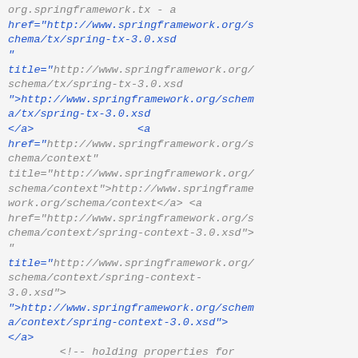code snippet showing Spring XML configuration with href and title attributes for spring-tx-3.0.xsd and spring-context schemas, plus a comment about holding properties for database connectivity with context:property-placeholder